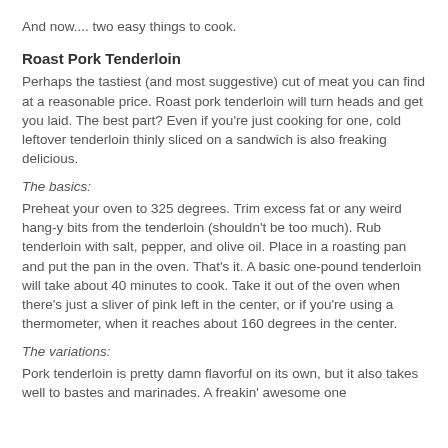And now.... two easy things to cook.
Roast Pork Tenderloin
Perhaps the tastiest (and most suggestive) cut of meat you can find at a reasonable price. Roast pork tenderloin will turn heads and get you laid. The best part? Even if you're just cooking for one, cold leftover tenderloin thinly sliced on a sandwich is also freaking delicious.
The basics:
Preheat your oven to 325 degrees. Trim excess fat or any weird hang-y bits from the tenderloin (shouldn't be too much). Rub tenderloin with salt, pepper, and olive oil. Place in a roasting pan and put the pan in the oven. That's it. A basic one-pound tenderloin will take about 40 minutes to cook. Take it out of the oven when there's just a sliver of pink left in the center, or if you're using a thermometer, when it reaches about 160 degrees in the center.
The variations:
Pork tenderloin is pretty damn flavorful on its own, but it also takes well to bastes and marinades. A freakin' awesome one